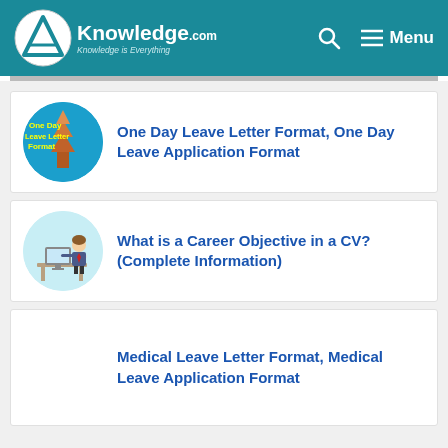AKnowledge.com — Knowledge is Everything | Menu
[Figure (illustration): Circular thumbnail with blue background showing 'One Day Leave Letter Format' text in yellow and an illustration of a temple/pagoda]
One Day Leave Letter Format, One Day Leave Application Format
[Figure (illustration): Circular thumbnail showing a cartoon person sitting at a desk with a computer, wearing a red tie]
What is a Career Objective in a CV? (Complete Information)
Medical Leave Letter Format, Medical Leave Application Format